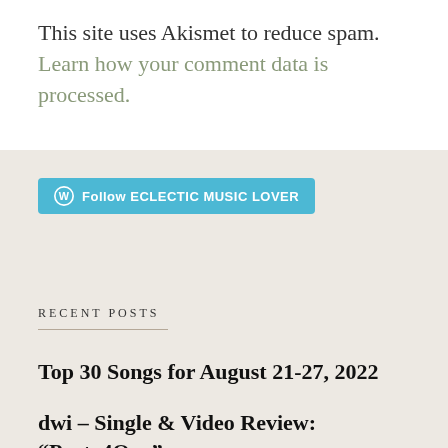This site uses Akismet to reduce spam. Learn how your comment data is processed.
[Figure (other): WordPress Follow button: Follow ECLECTIC MUSIC LOVER]
RECENT POSTS
Top 30 Songs for August 21-27, 2022
dwi – Single & Video Review: “Party4One”